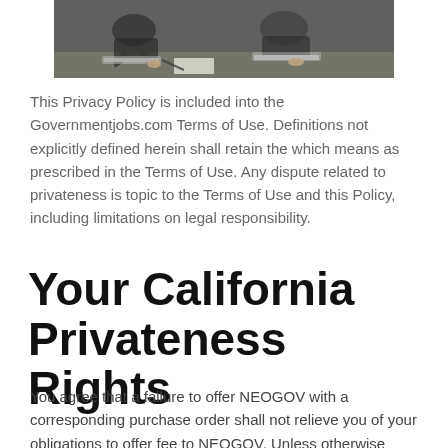[Figure (photo): Business people working at a table with laptops, signing documents]
This Privacy Policy is included into the Governmentjobs.com Terms of Use. Definitions not explicitly defined herein shall retain the which means as prescribed in the Terms of Use. Any dispute related to privateness is topic to the Terms of Use and this Policy, including limitations on legal responsibility.
Your California Privateness Rights
You agree that a failure to offer NEOGOV with a corresponding purchase order shall not relieve you of your obligations to offer fee to NEOGOV. Unless otherwise said, you might be answerable for any taxes (apart from